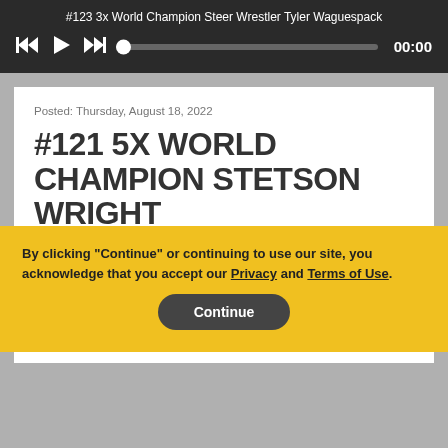#123 3x World Champion Steer Wrestler Tyler Waguespack
[Figure (other): Audio player controls with skip-back, play, skip-forward buttons, progress bar, and 00:00 time display]
Posted: Thursday, August 18, 2022
#121 5X WORLD CHAMPION STETSON WRIGHT
With one saddle bronc, one bull riding and three bareback titles under his belt, Stetson Wright is focused on becoming legendary. Stetson shares the back stories that have gotten him to this point in his career and
By clicking "Continue" or continuing to use our site, you acknowledge that you accept our Privacy and Terms of Use.
Continue